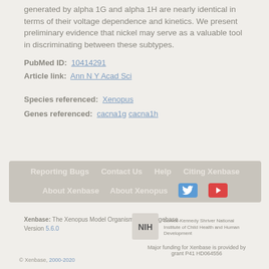generated by alpha 1G and alpha 1H are nearly identical in terms of their voltage dependence and kinetics. We present preliminary evidence that nickel may serve as a valuable tool in discriminating between these subtypes.
PubMed ID: 10414291
Article link: Ann N Y Acad Sci
Species referenced: Xenopus
Genes referenced: cacna1g cacna1h
Reporting Bugs  Contact Us  Help  Citing Xenbase
About Xenbase  About Xenopus  [Twitter] [YouTube]
Xenbase: The Xenopus Model Organism Knowledgebase.
Version 5.6.0
Eunice Kennedy Shriver National Institute of Child Health and Human Development
Major funding for Xenbase is provided by grant P41 HD064556
© Xenbase, 2000-2020